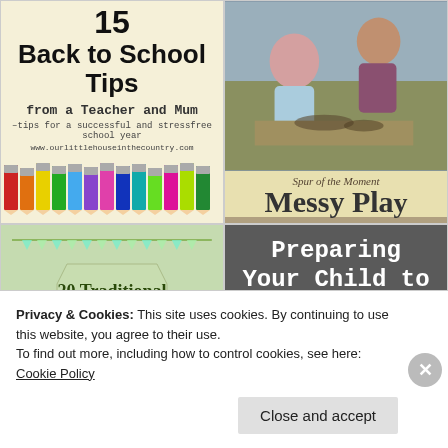[Figure (illustration): Back to School Tips card with number 15, subtitle 'from a Teacher and Mum', tagline about successful school year, URL, and colorful pencils/crayons at bottom on tan background]
[Figure (photo): Children doing messy play activity, with 'Spur of the Moment' text and 'Messy Play' heading on yellow-tan background]
[Figure (illustration): 20 Traditional Outdoor Games for [children] card with bunting decoration on green background]
[Figure (illustration): Preparing Your Child to Start School card with subtitle '20 Tips for a Smooth Transition and...' on dark gray background]
Privacy & Cookies: This site uses cookies. By continuing to use this website, you agree to their use.
To find out more, including how to control cookies, see here: Cookie Policy
Close and accept